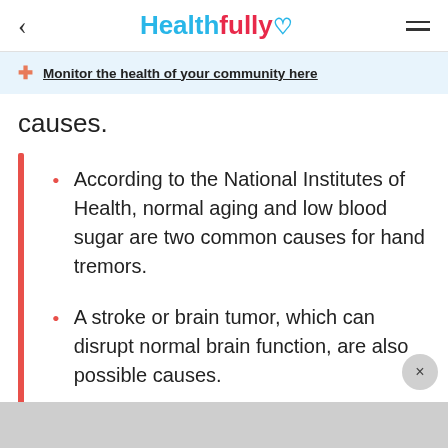Healthfully
Monitor the health of your community here
causes.
According to the National Institutes of Health, normal aging and low blood sugar are two common causes for hand tremors.
A stroke or brain tumor, which can disrupt normal brain function, are also possible causes.